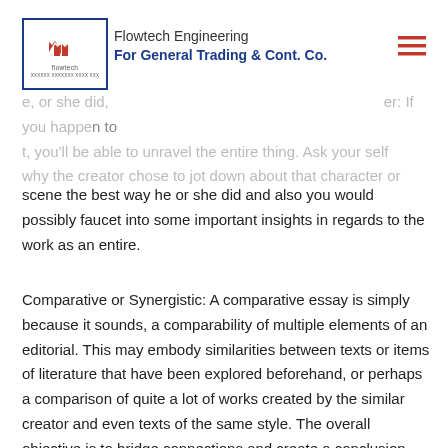Flowtech Engineering
For General Trading & Cont. Co.
sure method, or maybe you did not understand why the book the best way it did. Complicated moments in a piece of e, or she did, er: If you happen to t, you'll be able to unravel the entire thing. Ask your self why the creator chose to jot down about that character or scene the best way he or she did and also you would possibly faucet into some important insights in regards to the work as an entire.
Comparative or Synergistic: A comparative essay is simply because it sounds, a comparability of multiple elements of an editorial. This may embody similarities between texts or items of literature that have been explored beforehand, or perhaps a comparison of quite a lot of works created by the similar creator and even texts of the same style. The overall objective is to bridge connections and create a conclusion based mostly in your findings.